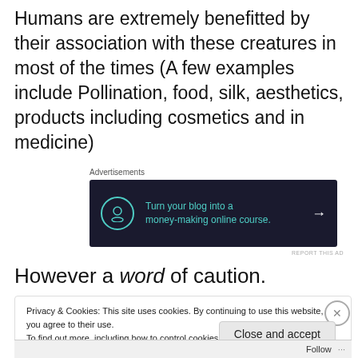Humans are extremely benefitted by their association with these creatures in most of the times (A few examples include Pollination, food, silk, aesthetics, products including cosmetics and in medicine)
[Figure (screenshot): Advertisement banner with dark background: 'Turn your blog into a money-making online course.' with an arrow icon]
However a word of caution.
Privacy & Cookies: This site uses cookies. By continuing to use this website, you agree to their use.
To find out more, including how to control cookies, see here: Cookie Policy
Close and accept
Follow